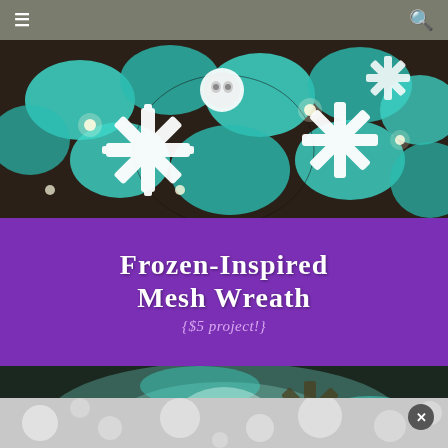☰  🔍
[Figure (photo): Frozen-inspired mesh wreath with teal/turquoise deco mesh and white snowflake ornaments, glowing fairy lights visible throughout the wreath. Top portion shows the wreath in full color on a dark background with owl ornament visible.]
Frozen-Inspired Mesh Wreath {$5 project!}
[Figure (photo): Bottom portion of the same or similar frozen mesh wreath, photographed with more glow/backlit effect showing snowflake ornaments silhouetted against bright teal/white light coming through the mesh.]
[Figure (photo): Light grey bokeh background at the bottom of the screenshot, partially visible, with a close/dismiss button (X) in the bottom right corner.]